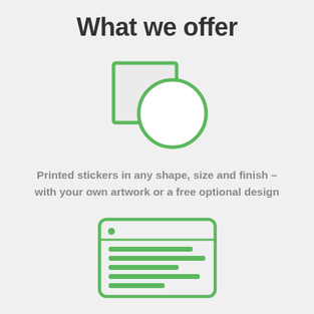What we offer
[Figure (illustration): Icon showing a square and overlapping circle outline in green, representing sticker shapes]
Printed stickers in any shape, size and finish – with your own artwork or a free optional design
[Figure (illustration): Icon showing a browser/window with horizontal lines representing text, in green outline]
Class-leading Xeikon printing for razor sharp